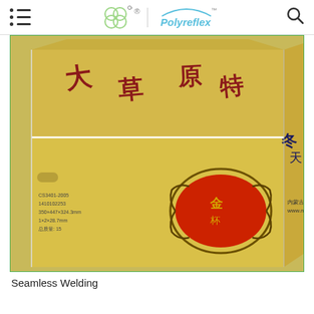Polyreflex (logo and navigation header)
[Figure (photo): A yellow corrugated cardboard box with Chinese text printed in dark red on the top and dark blue/black on the side, featuring a decorative red oval emblem with ornate gold/brown scrollwork design. The box has a handle cutout on the left side panel.]
Seamless Welding